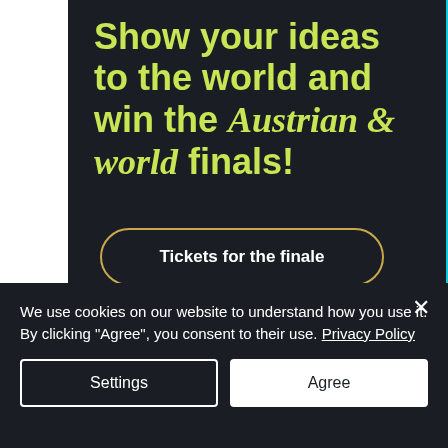[Figure (infographic): Dark panel advertisement with yellow-green headline text reading 'Show your ideas to the world and win the Austrian & world finals!' with a 'Tickets for the finale' button, overlaid on a teal geometric background]
ORGANIZERS
We use cookies on our website to understand how you use it. By clicking "Agree", you consent to their use. Privacy Policy
Settings
Agree